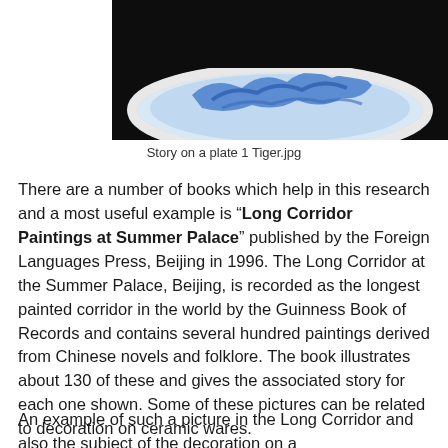[Figure (photo): A blue and white ceramic plate photographed against a dark background, showing blue decorative painting on white porcelain, partially visible from the top portion of the plate.]
Story on a plate 1 Tiger.jpg
There are a number of books which help in this research and a most useful example is “Long Corridor Paintings at Summer Palace” published by the Foreign Languages Press, Beijing in 1996. The Long Corridor at the Summer Palace, Beijing, is recorded as the longest painted corridor in the world by the Guinness Book of Records and contains several hundred paintings derived from Chinese novels and folklore. The book illustrates about 130 of these and gives the associated story for each one shown. Some of these pictures can be related to decoration on ceramic wares.
An example of such a picture in the Long Corridor and also the subject of the decoration on a